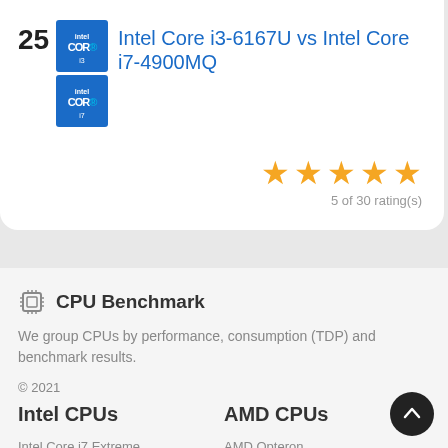25
Intel Core i3-6167U vs Intel Core i7-4900MQ
[Figure (other): Intel Core i3 and Intel Core i7 processor logo images stacked vertically]
[Figure (other): 5 orange star rating icons — 5 of 30 rating(s)]
5 of 30 rating(s)
CPU Benchmark
We group CPUs by performance, consumption (TDP) and benchmark results.
© 2021
Intel CPUs
AMD CPUs
Intel Core i7 Extreme Edition
AMD Opteron
AMD Phenom II
Intel Xeon E3
AMD Ryzen